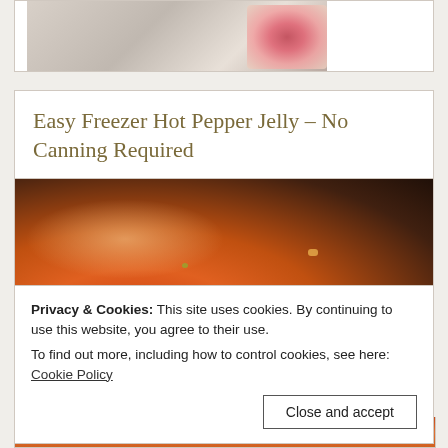[Figure (photo): Partial view of a decorative photo with marble-like background and floral pattern at top edge]
Easy Freezer Hot Pepper Jelly – No Canning Required
[Figure (photo): Close-up photo of jars of hot pepper jelly with text overlay reading 'EASY FREEZER']
Privacy & Cookies: This site uses cookies. By continuing to use this website, you agree to their use.
To find out more, including how to control cookies, see here:
Cookie Policy
Close and accept
[Figure (photo): Partial bottom of another jelly jar photo, cropped at bottom of page]